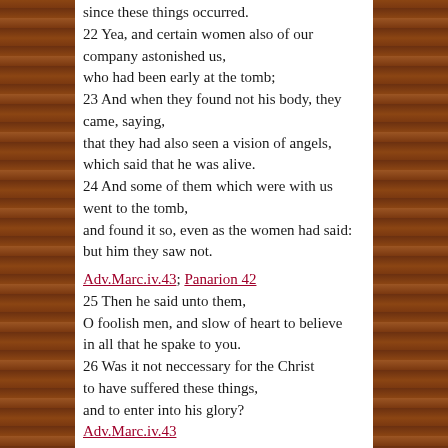since these things occurred.
22 Yea, and certain women also of our company astonished us,
who had been early at the tomb;
23 And when they found not his body, they came, saying,
that they had also seen a vision of angels,
which said that he was alive.
24 And some of them which were with us went to the tomb,
and found it so, even as the women had said:
but him they saw not.
Adv.Marc.iv.43; Panarion 42
25 Then he said unto them,
O foolish men, and slow of heart to believe
in all that he spake to you.
26 Was it not neccessary for the Christ
to have suffered these things,
and to enter into his glory?
Adv.Marc.iv.43
[ - 27 ]
28 And they drew nigh unto the village,
whither they were going: